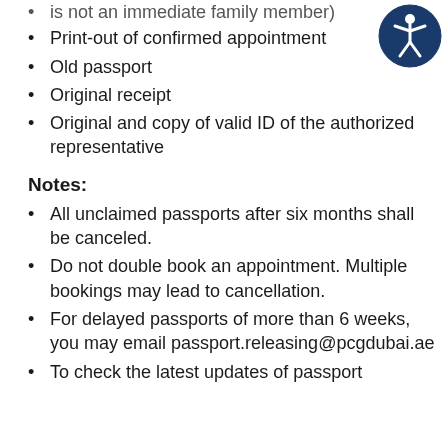is not an immediate family member)
Print-out of confirmed appointment
Old passport
Original receipt
Original and copy of valid ID of the authorized representative
Notes:
All unclaimed passports after six months shall be canceled.
Do not double book an appointment. Multiple bookings may lead to cancellation.
For delayed passports of more than 6 weeks, you may email passport.releasing@pcgdubai.ae
To check the latest updates of passport